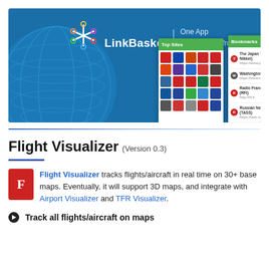[Figure (screenshot): LinkBasket app banner showing logo with colorful star icon, tagline 'One App Mobile news from the world.', globe graphic, and two phone screenshots showing Top Sites grid and Bookmarks list on green headers]
Flight Visualizer (Version 0.3)
Flight Visualizer tracks flights/aircraft in real time on 30+ base maps. Eventually, it will support 3D maps, and integrate with Airport Visualizer and TFR Visualizer.
Track all flights/aircraft on maps